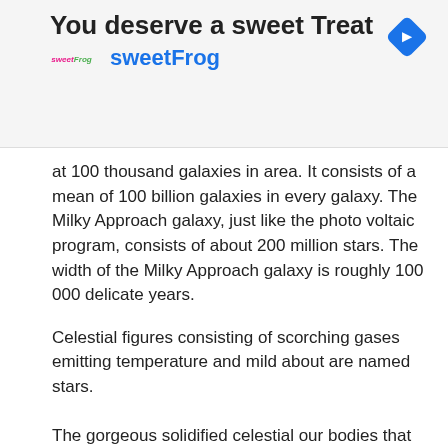[Figure (infographic): Advertisement banner for sweetFrog with logo, brand name, navigation arrow icon, and title 'You deserve a sweet Treat']
at 100 thousand galaxies in area. It consists of a mean of 100 billion galaxies in every galaxy. The Milky Approach galaxy, just like the photo voltaic program, consists of about 200 million stars. The width of the Milky Approach galaxy is roughly 100 000 delicate years.
Celestial figures consisting of scorching gases emitting temperature and mild about are named stars.
The gorgeous solidified celestial our bodies that not create warmth and lightweight themselves however radiate the power they receive from the Solar are named planets.